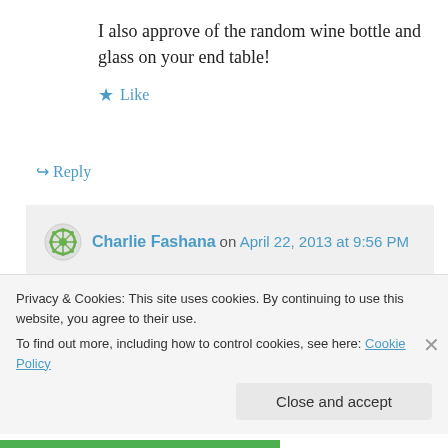I also approve of the random wine bottle and glass on your end table!
★ Like
↪ Reply
Charlie Fashana on April 22, 2013 at 9:56 PM
Thanks! And yes, for every Buffalo related piece we have in our house, there's just as
Privacy & Cookies: This site uses cookies. By continuing to use this website, you agree to their use.
To find out more, including how to control cookies, see here: Cookie Policy
Close and accept